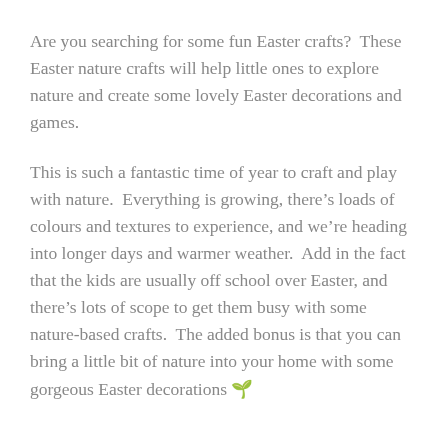Are you searching for some fun Easter crafts?  These Easter nature crafts will help little ones to explore nature and create some lovely Easter decorations and games.
This is such a fantastic time of year to craft and play with nature.  Everything is growing, there's loads of colours and textures to experience, and we're heading into longer days and warmer weather.  Add in the fact that the kids are usually off school over Easter, and there's lots of scope to get them busy with some nature-based crafts.  The added bonus is that you can bring a little bit of nature into your home with some gorgeous Easter decorations 🌿